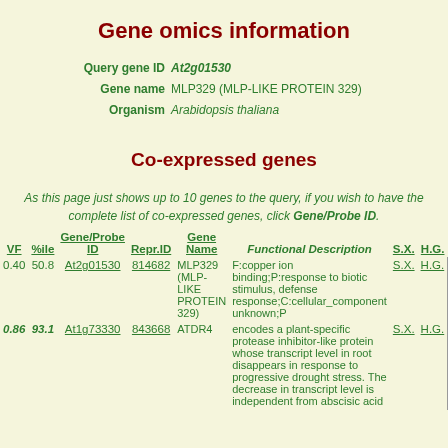Gene omics information
Query gene ID At2g01530
Gene name MLP329 (MLP-LIKE PROTEIN 329)
Organism Arabidopsis thaliana
Co-expressed genes
As this page just shows up to 10 genes to the query, if you wish to have the complete list of co-expressed genes, click Gene/Probe ID.
| VF | %ile | Gene/Probe ID | Repr.ID | Gene Name | Functional Description | S.X. | H.G. |
| --- | --- | --- | --- | --- | --- | --- | --- |
| 0.40 | 50.8 | At2g01530 | 814682 | MLP329 (MLP-LIKE PROTEIN 329) | F:copper ion binding;P:response to biotic stimulus, defense response;C:cellular_component unknown;P | S.X. | H.G. |
| 0.86 | 93.1 | At1g73330 | 843668 | ATDR4 | encodes a plant-specific protease inhibitor-like protein whose transcript level in root disappears in response to progressive drought stress. The decrease in transcript level is independent from abscisic acid | S.X. | H.G. |